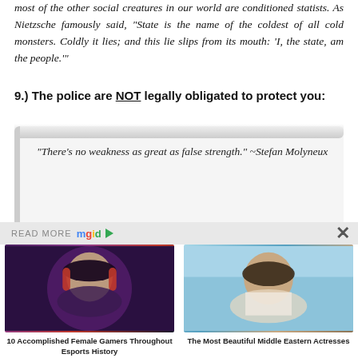most of the other social creatures in our world are conditioned statists. As Nietzsche famously said, “State is the name of the coldest of all cold monsters. Coldly it lies; and this lie slips from its mouth: ‘I, the state, am the people.’”
9.) The police are NOT legally obligated to protect you:
“There’s no weakness as great as false strength.” ~Stefan Molyneux
READ MORE mgid
[Figure (photo): Woman with red and black gaming headset, looking downward, with gaming chair in background]
10 Accomplished Female Gamers Throughout Esports History
[Figure (photo): Young woman with dark hair looking at camera, light blue background]
The Most Beautiful Middle Eastern Actresses